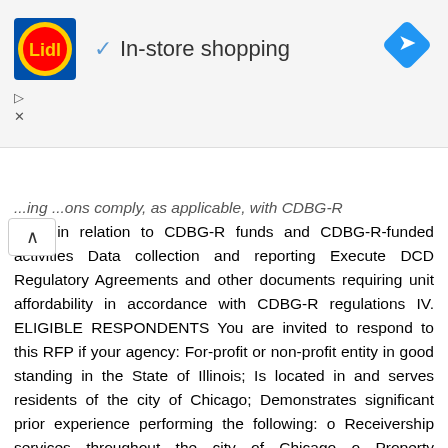[Figure (screenshot): Lidl store advertisement banner with logo, checkmark, 'In-store shopping' text, and navigation arrow icon]
...ing ...ons comply, as applicable, with CDBG-R ...tions in relation to CDBG-R funds and CDBG-R-funded activities Data collection and reporting Execute DCD Regulatory Agreements and other documents requiring unit affordability in accordance with CDBG-R regulations IV. ELIGIBLE RESPONDENTS You are invited to respond to this RFP if your agency: For-profit or non-profit entity in good standing in the State of Illinois; Is located in and serves residents of the city of Chicago; Demonstrates significant prior experience performing the following: o Receivership services throughout the city of Chicago o Property management for large, affordable, and distressed multi-unit buildings o Working in conjunction with City departments and attorneys in Housing Court o Construction management and oversight including construction pay-outs o Underwriting, bidding, acquisition, financing, and closing sales of affordable and distressed multi-unit properties o Financial and institutional capacity to